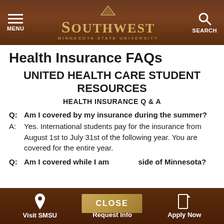[Figure (screenshot): Southwest Minnesota State University navigation bar with menu, logo, and search icons on dark brown background]
Health Insurance FAQs
UNITED HEALTH CARE STUDENT RESOURCES
HEALTH INSURANCE Q & A
Q: Am I covered by my insurance during the summer?
A: Yes. International students pay for the insurance from August 1st to July 31st of the following year. You are covered for the entire year.
Q: Am I covered while I am outside of Minnesota?
[Figure (screenshot): Close button overlay in gold/tan color]
[Figure (screenshot): Bottom navigation bar with Visit SMSU, Request Info, and Apply Now buttons on dark brown background]